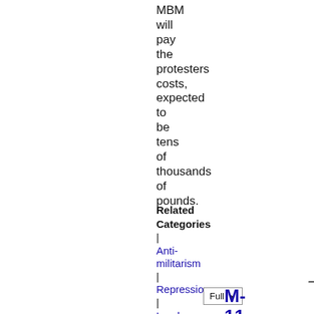MBM will pay the protesters costs, expected to be tens of thousands of pounds.
Related Categories | Anti-militarism | Repression | London | South Coast
Full
M-11